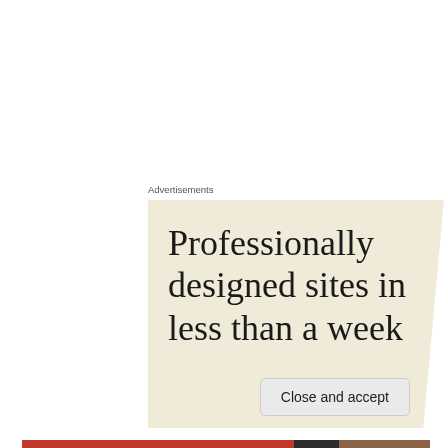Advertisements
[Figure (illustration): Advertisement with beige/cream background showing text 'Professionally designed sites in less than a week' in large serif font, partially cut off at bottom.]
She had a little more difficulty with the face, not knowing if it was a genuine smile of if the person it represented was hiding behind a smile, not sure if it was me or someone
Privacy & Cookies: This site uses cookies. By continuing to use this website, you agree to their use.
To find out more, including how to control cookies, see here: Cookie Policy
Close and accept